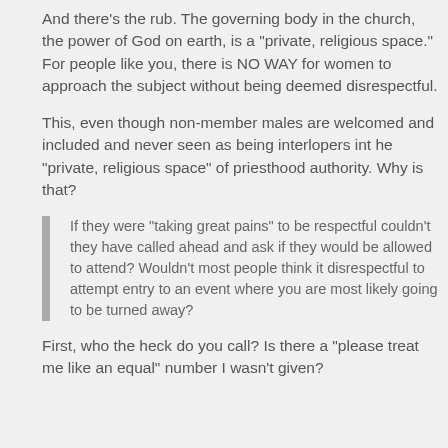And there's the rub. The governing body in the church, the power of God on earth, is a “private, religious space.” For people like you, there is NO WAY for women to approach the subject without being deemed disrespectful.
This, even though non-member males are welcomed and included and never seen as being interlopers int he “private, religious space” of priesthood authority. Why is that?
If they were “taking great pains” to be respectful couldn’t they have called ahead and ask if they would be allowed to attend? Wouldn’t most people think it disrespectful to attempt entry to an event where you are most likely going to be turned away?
First, who the heck do you call? Is there a “please treat me like an equal” number I wasn’t given?